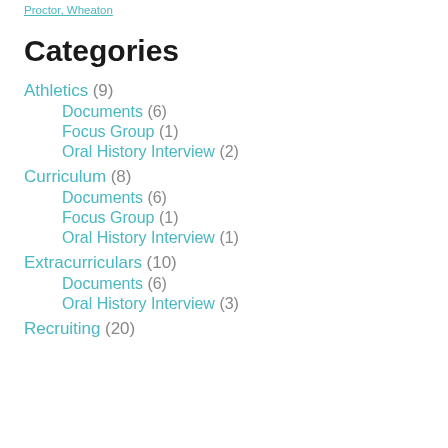Proctor, Wheaton
Categories
Athletics (9)
Documents (6)
Focus Group (1)
Oral History Interview (2)
Curriculum (8)
Documents (6)
Focus Group (1)
Oral History Interview (1)
Extracurriculars (10)
Documents (6)
Oral History Interview (3)
Recruiting (20)